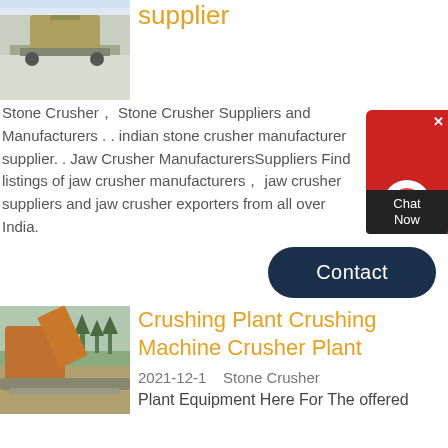[Figure (photo): Industrial stone crusher machinery on a rocky site]
supplier
Stone Crusher, Stone Crusher Suppliers and Manufacturers . . indian stone crusher manufacturer supplier. . Jaw Crusher ManufacturersSuppliers Find listings of jaw crusher manufacturers, jaw crusher suppliers and jaw crusher exporters from all over India.
[Figure (other): Chat Now customer support widget (red background with headset icon)]
Contact
[Figure (photo): Orange excavator at a crushing plant site with trees in background]
Crushing Plant Crushing Machine Crusher Plant
2021-12-1   Stone Crusher Plant Equipment Here For The offered...